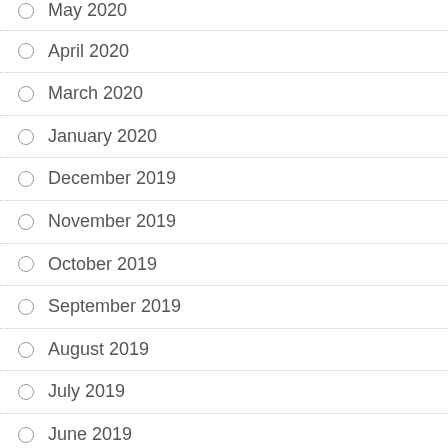May 2020
April 2020
March 2020
January 2020
December 2019
November 2019
October 2019
September 2019
August 2019
July 2019
June 2019